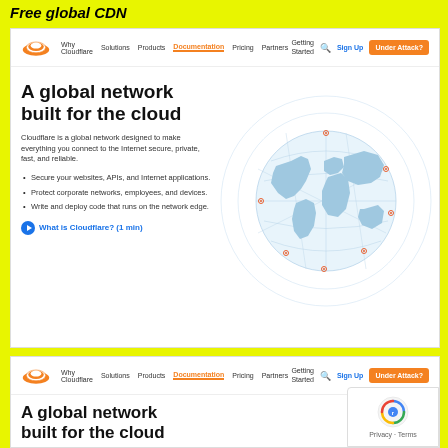Free global CDN
[Figure (screenshot): Cloudflare website screenshot showing navigation bar and hero section with 'A global network built for the cloud' heading, description text, bullet points, and a globe graphic]
Why Cloudflare | Solutions | Products | Documentation | Pricing | Partners | Getting Started | Sign Up | Under Attack?
A global network built for the cloud
Cloudflare is a global network designed to make everything you connect to the Internet secure, private, fast, and reliable.
Secure your websites, APIs, and Internet applications.
Protect corporate networks, employees, and devices.
Write and deploy code that runs on the network edge.
What is Cloudflare? (1 min)
[Figure (screenshot): Second Cloudflare website screenshot showing navigation bar and beginning of hero section with same heading and partial description text, with reCAPTCHA badge overlay]